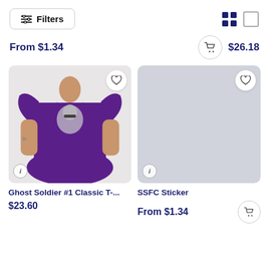Filters
From $1.34
$26.18
[Figure (photo): Purple t-shirt with Ghost Soldier #1 graphic design, worn by a person]
Ghost Soldier #1 Classic T-...
$23.60
[Figure (photo): SSFC Sticker product placeholder image (gray)]
SSFC Sticker
From $1.34